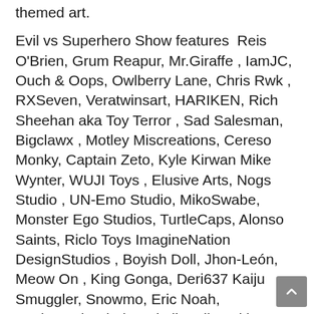themed art.
Evil vs Superhero Show features  Reis O'Brien, Grum Reapur, Mr.Giraffe , IamJC, Ouch & Oops, Owlberry Lane, Chris Rwk , RXSeven, Veratwinsart, HARIKEN, Rich Sheehan aka Toy Terror , Sad Salesman, Bigclawx , Motley Miscreations, Cereso Monky, Captain Zeto, Kyle Kirwan Mike Wynter, WUJI Toys , Elusive Arts, Nogs Studio , UN-Emo Studio, MikoSwabe, Monster Ego Studios, TurtleCaps, Alonso Saints, Riclo Toys ImagineNation DesignStudios , Boyish Doll, Jhon-León, Meow On , King Gonga, Deri637 Kaiju Smuggler, Snowmo, Eric Noah, Kuchupack, Kholeo Skull, Failureskin, Buckchan97, d9kui, and Odd Critters Studio.